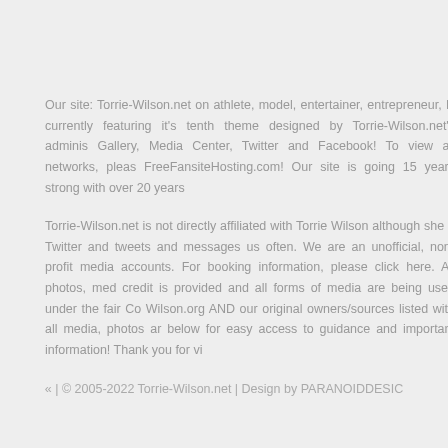Our site: Torrie-Wilson.net on athlete, model, entertainer, entrepreneur, H... currently featuring it's tenth theme designed by Torrie-Wilson.net's adminis... Gallery, Media Center, Twitter and Facebook! To view all networks, pleas... FreeFansiteHosting.com! Our site is going 15 years strong with over 20 years...
Torrie-Wilson.net is not directly affiliated with Torrie Wilson although she d... Twitter and tweets and messages us often. We are an unofficial, non-profit... media accounts. For booking information, please click here. All photos, med... credit is provided and all forms of media are being used under the fair Co... Wilson.org AND our original owners/sources listed with all media, photos ar... below for easy access to guidance and important information! Thank you for vi...
« | © 2005-2022 Torrie-Wilson.net | Design by PARANOIDDESIC...